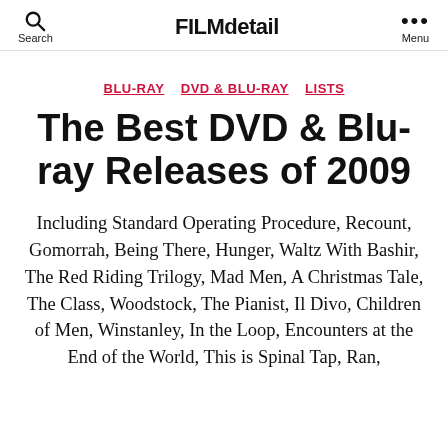Search  FILMdetail  Menu
BLU-RAY  DVD & BLU-RAY  LISTS
The Best DVD & Blu-ray Releases of 2009
Including Standard Operating Procedure, Recount, Gomorrah, Being There, Hunger, Waltz With Bashir, The Red Riding Trilogy, Mad Men, A Christmas Tale, The Class, Woodstock, The Pianist, Il Divo, Children of Men, Winstanley, In the Loop, Encounters at the End of the World, This is Spinal Tap, Ran, Belle de Jour, The New World, Encounters Di...